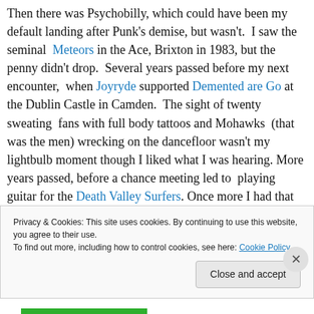Then there was Psychobilly, which could have been my default landing after Punk's demise, but wasn't. I saw the seminal Meteors in the Ace, Brixton in 1983, but the penny didn't drop. Several years passed before my next encounter, when Joyryde supported Demented are Go at the Dublin Castle in Camden. The sight of twenty sweating fans with full body tattoos and Mohawks (that was the men) wrecking on the dancefloor wasn't my lightbulb moment though I liked what I was hearing. More years passed, before a chance meeting led to playing guitar for the Death Valley Surfers. Once more I had that
Privacy & Cookies: This site uses cookies. By continuing to use this website, you agree to their use.
To find out more, including how to control cookies, see here: Cookie Policy